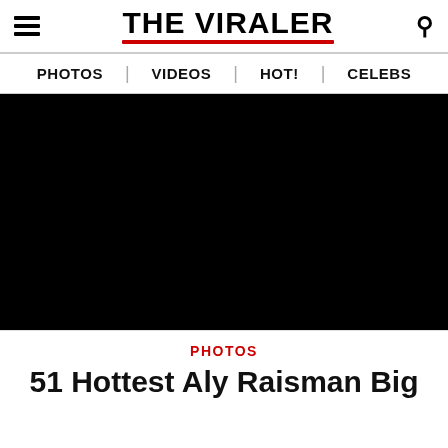THE VIRALER
PHOTOS | VIDEOS | HOT! | CELEBS
[Figure (photo): Large black hero image placeholder]
PHOTOS
51 Hottest Aly Raisman Big